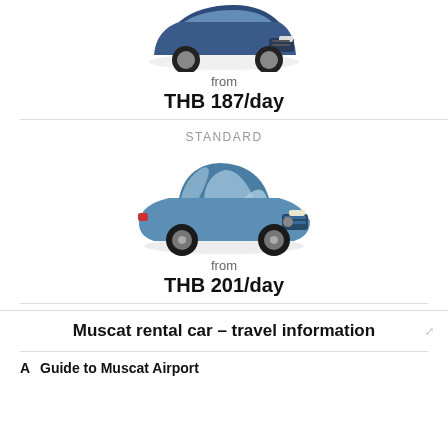[Figure (photo): Blue Audi SUV car image, front-angled view, top portion visible]
from
THB 187/day
STANDARD
[Figure (photo): Blue Opel Corsa hatchback car image, side-front view]
from
THB 201/day
Muscat rental car – travel information
A  Guide to Muscat Airport